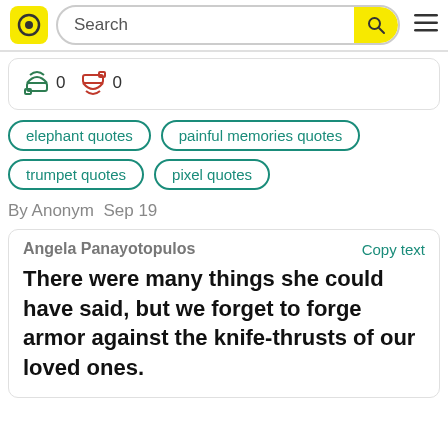Search
👍 0 👎 0
elephant quotes
painful memories quotes
trumpet quotes
pixel quotes
By Anonym  Sep 19
Angela Panayotopulos
Copy text
There were many things she could have said, but we forget to forge armor against the knife-thrusts of our loved ones.